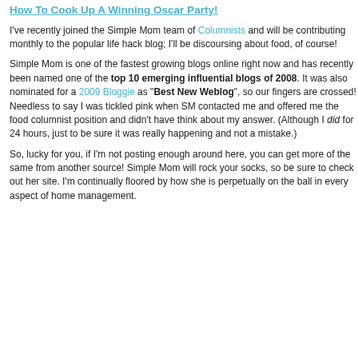How To Cook Up A Winning Oscar Party!
I've recently joined the Simple Mom team of Columnists and will be contributing monthly to the popular life hack blog; I'll be discoursing about food, of course!
Simple Mom is one of the fastest growing blogs online right now and has recently been named one of the top 10 emerging influential blogs of 2008. It was also nominated for a 2009 Bloggie as "Best New Weblog", so our fingers are crossed!
Needless to say I was tickled pink when SM contacted me and offered me the food columnist position and didn't have think about my answer. (Although I did for 24 hours, just to be sure it was really happening and not a mistake.)
So, lucky for you, if I'm not posting enough around here, you can get more of the same from another source! Simple Mom will rock your socks, so be sure to check out her site. I'm continually floored by how she is perpetually on the ball in every aspect of home management.